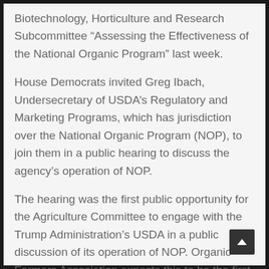Biotechnology, Horticulture and Research Subcommittee “Assessing the Effectiveness of the National Organic Program” last week.
House Democrats invited Greg Ibach, Undersecretary of USDA’s Regulatory and Marketing Programs, which has jurisdiction over the National Organic Program (NOP), to join them in a public hearing to discuss the agency’s operation of NOP.
The hearing was the first public opportunity for the Agriculture Committee to engage with the Trump Administration’s USDA in a public discussion of its operation of NOP. Organic Farmers Association expects this to be the first step in a process to learn about the